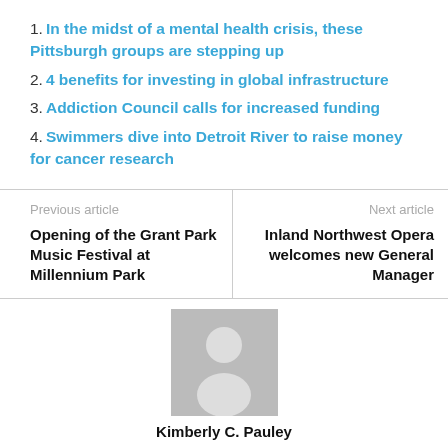1. In the midst of a mental health crisis, these Pittsburgh groups are stepping up
2. 4 benefits for investing in global infrastructure
3. Addiction Council calls for increased funding
4. Swimmers dive into Detroit River to raise money for cancer research
Previous article
Opening of the Grant Park Music Festival at Millennium Park
Next article
Inland Northwest Opera welcomes new General Manager
[Figure (photo): Gray placeholder avatar silhouette image]
Kimberly C. Pauley